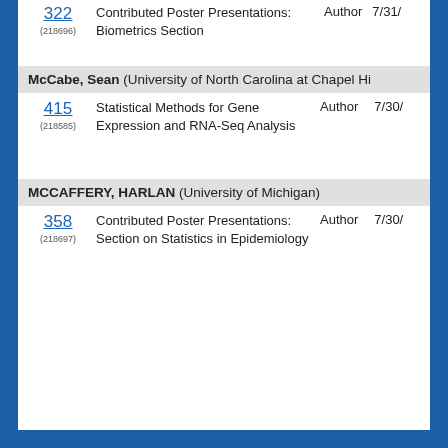322 (218696) Contributed Poster Presentations: Biometrics Section Author 7/31/
McCabe, Sean (University of North Carolina at Chapel Hi
415 (218585) Statistical Methods for Gene Expression and RNA-Seq Analysis Author 7/30/
MCCAFFERY, HARLAN (University of Michigan)
358 (218697) Contributed Poster Presentations: Section on Statistics in Epidemiology Author 7/30/